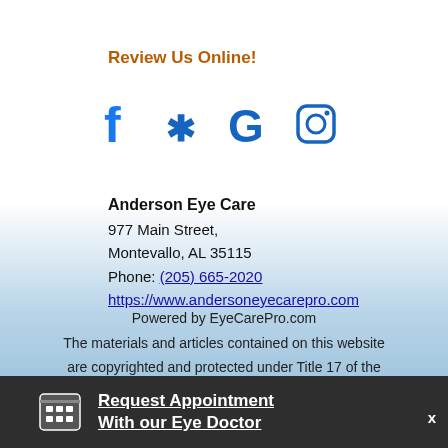Review Us Online!
[Figure (illustration): Social media icons: Facebook, Yelp, Google, Instagram in blue]
Anderson Eye Care
977 Main Street,
Montevallo, AL 35115
Phone: (205) 665-2020
https://www.andersoneyecarepro.com
Powered by EyeCarePro.com
The materials and articles contained on this website are copyrighted and protected under Title 17 of the United States Code
Email Acces...
Request Appointment With our Eye Doctor